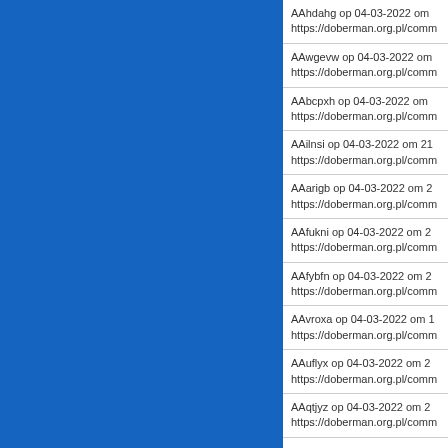[Figure (other): Blue solid color panel on the left side of the page]
AAhdahg op 04-03-2022 om https://doberman.org.pl/comm
AAwgevw op 04-03-2022 om https://doberman.org.pl/comm
AAbcpxh op 04-03-2022 om https://doberman.org.pl/comm
AAilnsi op 04-03-2022 om 21 https://doberman.org.pl/comm
AAarigb op 04-03-2022 om 2 https://doberman.org.pl/comm
AAfukni op 04-03-2022 om 2 https://doberman.org.pl/comm
AAfybfn op 04-03-2022 om 2 https://doberman.org.pl/comm
AAvroxa op 04-03-2022 om 1 https://doberman.org.pl/comm
AAuflyx op 04-03-2022 om 2 https://doberman.org.pl/comm
AAqtjyz op 04-03-2022 om 2 https://doberman.org.pl/comm